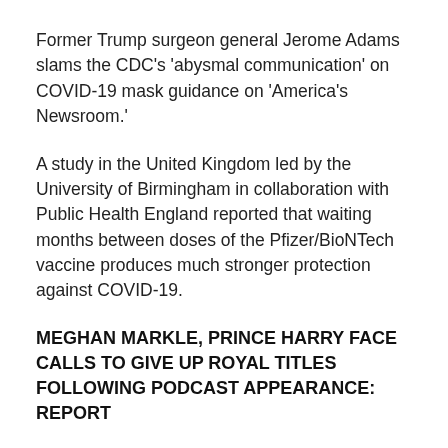Former Trump surgeon general Jerome Adams slams the CDC's 'abysmal communication' on COVID-19 mask guidance on 'America's Newsroom.'
A study in the United Kingdom led by the University of Birmingham in collaboration with Public Health England reported that waiting months between doses of the Pfizer/BioNTech vaccine produces much stronger protection against COVID-19.
MEGHAN MARKLE, PRINCE HARRY FACE CALLS TO GIVE UP ROYAL TITLES FOLLOWING PODCAST APPEARANCE: REPORT
Dr. Helen Parry, a senior author on the study at